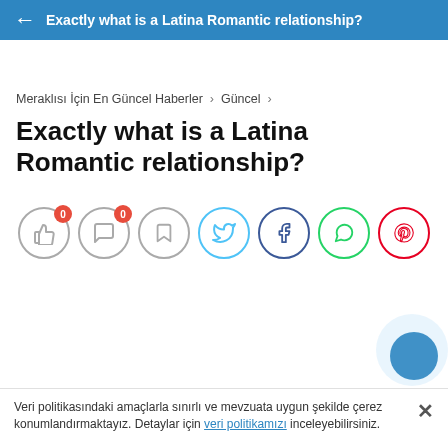← Exactly what is a Latina Romantic relationship?
Meraklısı İçin En Güncel Haberler > Güncel >
Exactly what is a Latina Romantic relationship?
[Figure (infographic): Social sharing icons row: like (0), comment (0), bookmark, Twitter, Facebook, WhatsApp, Pinterest]
Veri politikasındaki amaçlarla sınırlı ve mevzuata uygun şekilde çerez konumlandırmaktayız. Detaylar için veri politikamızı inceleyebilirsiniz.